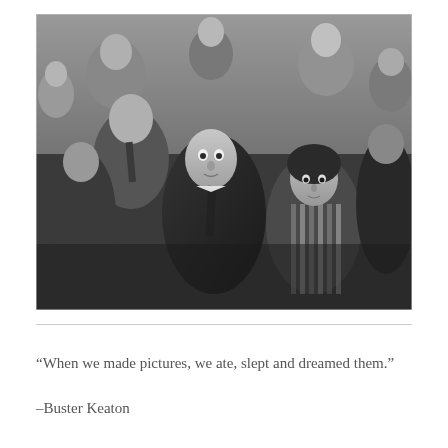[Figure (photo): Black and white photograph of a crowd of people, with a young man in the center wearing a dark suit and tie looking forward with wide eyes, and a young woman to his right wearing a striped dress. Several other people are visible in the background.]
“When we made pictures, we ate, slept and dreamed them.”
–Buster Keaton